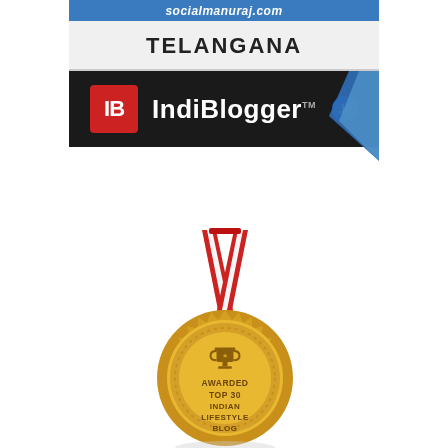[Figure (logo): IndiBlogger badge with URL bar showing 'socialmanuraj.com', TELANGANA label, IndiBlogger IB logo on dark background with blue ribbon corner]
[Figure (illustration): Gold medal with red and white ribbon/lanyard, inscribed 'AWARDED TOP 30 INDIAN LIFESTYLE BLOG' with a trophy icon at top center, sunburst scalloped border, dotted inner ring]